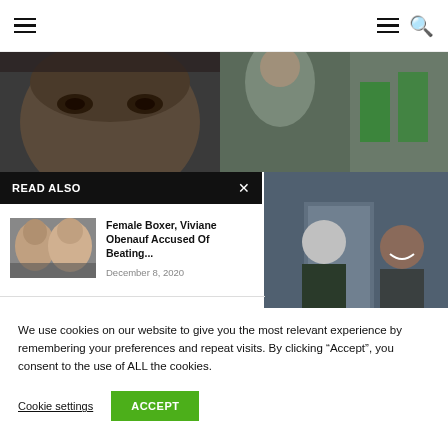Navigation bar with hamburger menu and search icon
[Figure (photo): Left: Close-up of a man's face (eyes). Right: Woman in gym area with green equipment background.]
READ ALSO
[Figure (photo): Thumbnail image of two women, possibly boxers.]
Female Boxer, Viviane Obenauf Accused Of Beating...
December 8, 2020
[Figure (photo): Two people at a doorway, one with grey hair seen from behind, the other smiling.]
We use cookies on our website to give you the most relevant experience by remembering your preferences and repeat visits. By clicking “Accept”, you consent to the use of ALL the cookies.
Cookie settings   ACCEPT